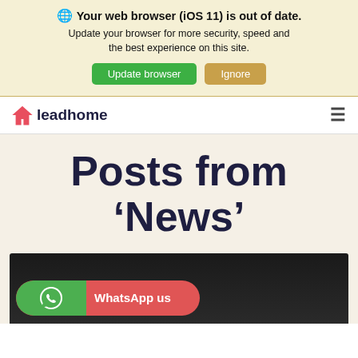🌐 Your web browser (iOS 11) is out of date. Update your browser for more security, speed and the best experience on this site.
Update browser | Ignore
[Figure (logo): Leadhome logo with red house icon and dark navy text 'leadhome', plus hamburger menu icon on right]
Posts from 'News'
[Figure (photo): Dark background photo, partially visible at bottom of page]
WhatsApp us